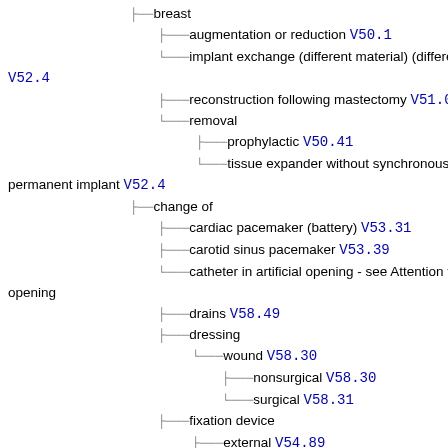breast
augmentation or reduction V50.1
implant exchange (different material) (different size) V52.4
reconstruction following mastectomy V51.0
removal
prophylactic V50.41
tissue expander without synchronous insertion of permanent implant V52.4
change of
cardiac pacemaker (battery) V53.31
carotid sinus pacemaker V53.39
catheter in artificial opening - see Attention to, artificial, opening
drains V58.49
dressing
wound V58.30
nonsurgical V58.30
surgical V58.31
fixation device
external V54.89
internal V54.01
Kirschner wire V54.89